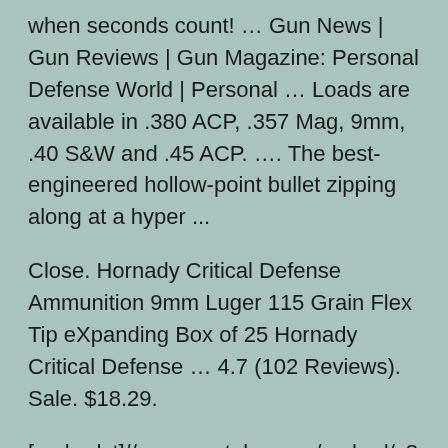when seconds count! … Gun News | Gun Reviews | Gun Magazine: Personal Defense World | Personal … Loads are available in .380 ACP, .357 Mag, 9mm, .40 S&W and .45 ACP. …. The best-engineered hollow-point bullet zipping along at a hyper ...
Close. Hornady Critical Defense Ammunition 9mm Luger 115 Grain Flex Tip eXpanding Box of 25 Hornady Critical Defense … 4.7 (102 Reviews). Sale. $18.29.
[embedyt]//www.youtube.com/embed/c8gm7ZTkDxc[/embedyt]